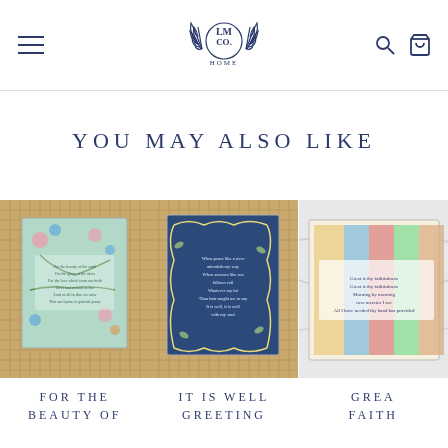[Figure (logo): LM Co Home logo with laurel wreath in navy blue]
YOU MAY ALSO LIKE
[Figure (photo): Greeting card with floral design on teal background placed on wicker surface]
FOR THE
BEAUTY OF
[Figure (photo): Greeting card with navy blue and yellow floral design on wicker surface]
IT IS WELL
GREETING
[Figure (photo): Partially visible greeting card on white marble surface]
GREA
FAITH